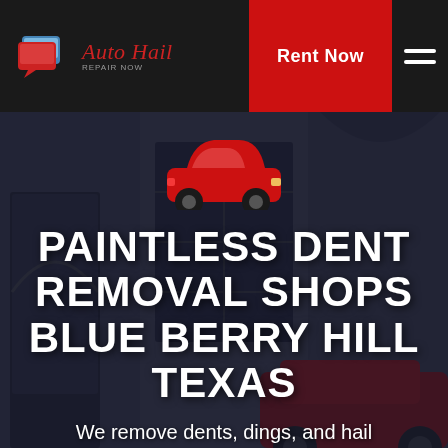[Figure (logo): Auto Hail Repair Now logo with speech bubble/card icons in red and blue on black navbar]
Rent Now
[Figure (illustration): Red car icon silhouette centered on dark background over building photo]
PAINTLESS DENT REMOVAL SHOPS BLUE BERRY HILL TEXAS
We remove dents, dings, and hail